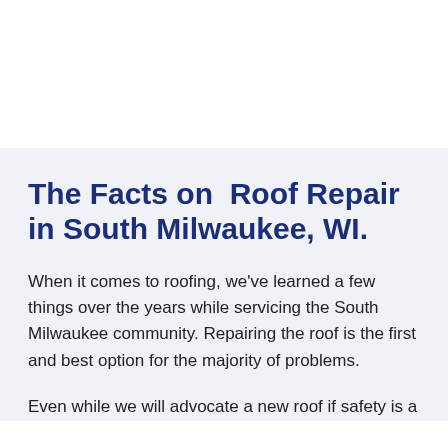The Facts on  Roof Repair in South Milwaukee, WI.
When it comes to roofing, we've learned a few things over the years while servicing the South Milwaukee community. Repairing the roof is the first and best option for the majority of problems.
Even while we will advocate a new roof if safety is a